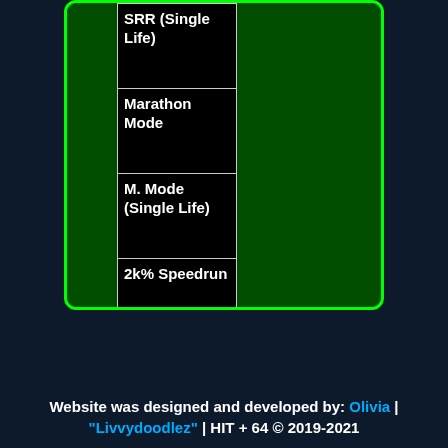| SRR (Single Life) |
| Marathon Mode |
| M. Mode (Single Life) |
| 2k% Speedrun |
Website was designed and developed by: Olivia | "Livvydoodlez" | HIT + 64 © 2019-2021